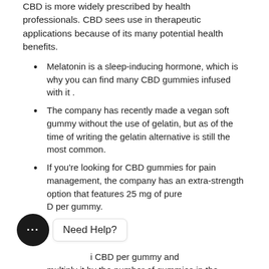CBD is more widely prescribed by health professionals. CBD sees use in therapeutic applications because of its many potential health benefits.
Melatonin is a sleep-inducing hormone, which is why you can find many CBD gummies infused with it .
The company has recently made a vegan soft gummy without the use of gelatin, but as of the time of writing the gelatin alternative is still the most common.
If you're looking for CBD gummies for pain management, the company has an extra-strength option that features 25 mg of pure CBD per gummy.
mp... of CBD per gummy and multiply it by the number of gummies in the bottle.